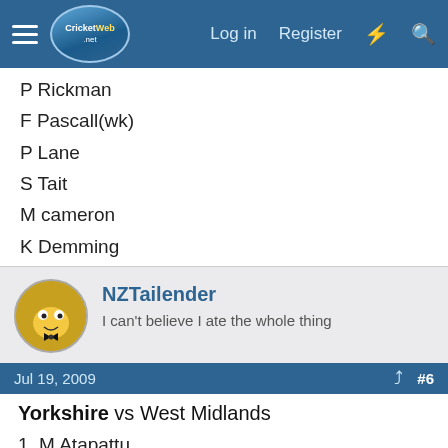CricketWeb.net — Log in | Register
P Rickman
F Pascall(wk)
P Lane
S Tait
M cameron
K Demming
NZTailender — I can't believe I ate the whole thing
Jul 19, 2009  #6
Yorkshire vs West Midlands
1. M Atapattu
2. R Beetson
3. J Patel
4. J Bradshaw
5. W Tendulkar
6. EP van Wyk